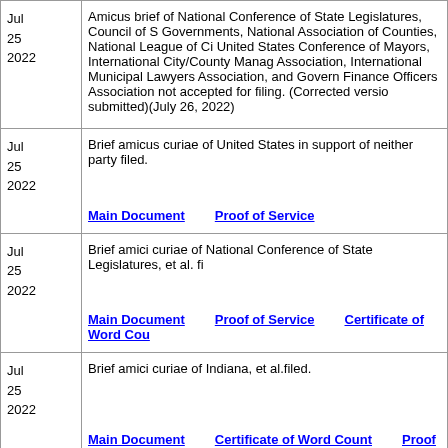| Date | Description |
| --- | --- |
| Jul
25
2022 | Amicus brief of National Conference of State Legislatures, Council of State Governments, National Association of Counties, National League of Cities, United States Conference of Mayors, International City/County Management Association, International Municipal Lawyers Association, and Government Finance Officers Association not accepted for filing. (Corrected version submitted)(July 26, 2022) |
| Jul
25
2022 | Brief amicus curiae of United States in support of neither party filed.
Main Document    Proof of Service |
| Jul
25
2022 | Brief amici curiae of National Conference of State Legislatures, et al. filed.
Main Document    Proof of Service    Certificate of Word Count |
| Jul
25
2022 | Brief amici curiae of Indiana, et al.filed.
Main Document    Certificate of Word Count    Proof of Service |